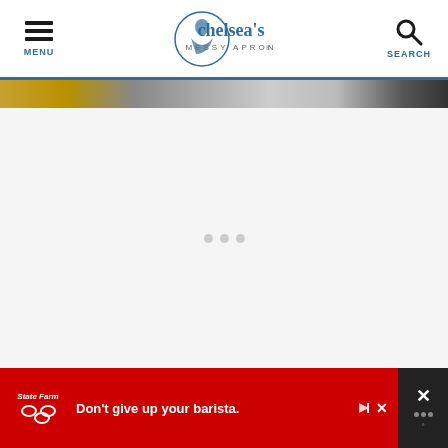MENU | chelsea's MESSY APRON® | SEARCH
[Figure (photo): Partial view of food photo strip at top of content area]
[Figure (other): Advertisement placeholder area with loading dots]
[Figure (other): State Farm advertisement banner: Don't give up your barista.]